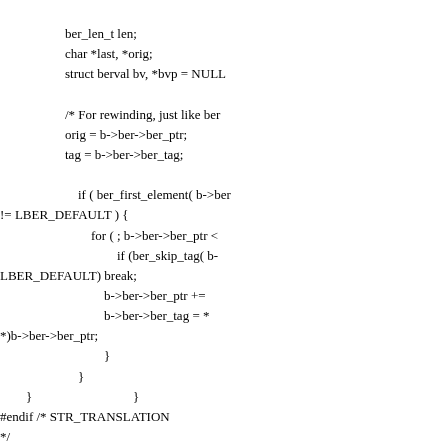ber_len_t len;
char *last, *orig;
struct berval bv, *bvp = NULL

/* For rewinding, just like ber
orig = b->ber->ber_ptr;
tag = b->ber->ber_tag;

        if ( ber_first_element( b->ber
!= LBER_DEFAULT ) {
            for ( ; b->ber->ber_ptr <
                    if (ber_skip_tag( b-
LBER_DEFAULT) break;
                b->ber->ber_ptr +=
                b->ber->ber_tag = *
*)b->ber->ber_ptr;
                }
        }
}
#endif /* STR_TRANSLATION
*/

        *len = datalen;
        return( tag );

if ( rlen ) *rlen = i;

if ( i == 0 ) {
        *b->res.c = NULL;
        return 0;